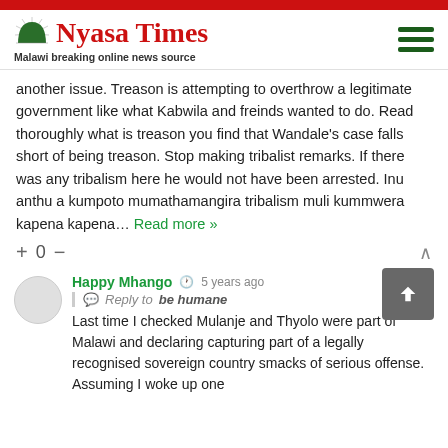Nyasa Times — Malawi breaking online news source
another issue. Treason is attempting to overthrow a legitimate government like what Kabwila and freinds wanted to do. Read thoroughly what is treason you find that Wandale's case falls short of being treason. Stop making tribalist remarks. If there was any tribalism here he would not have been arrested. Inu anthu a kumpoto mumathamangira tribalism muli kummwera kapena kapena… Read more »
+ 0 −
Happy Mhango · 5 years ago
Reply to be humane
Last time I checked Mulanje and Thyolo were part of Malawi and declaring capturing part of a legally recognised sovereign country smacks of serious offense. Assuming I woke up one